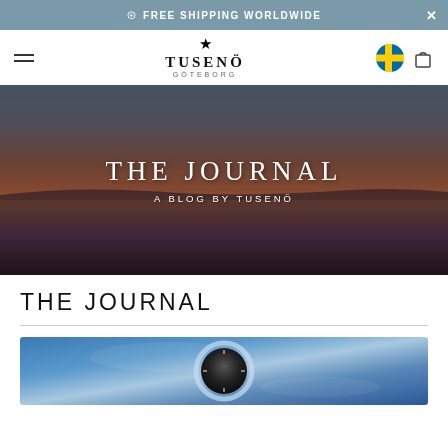FREE SHIPPING WORLDWIDE
[Figure (logo): TUSENÖ Göteborg brand logo with star icon, Swedish flag icon, and shopping bag icon in navigation bar]
[Figure (photo): Hero banner with sunset over water background showing text THE JOURNAL and subtitle A BLOG BY TUSENÖ]
THE JOURNAL
[Figure (photo): Partial view of a blue-toned watch photograph at the bottom of the page]